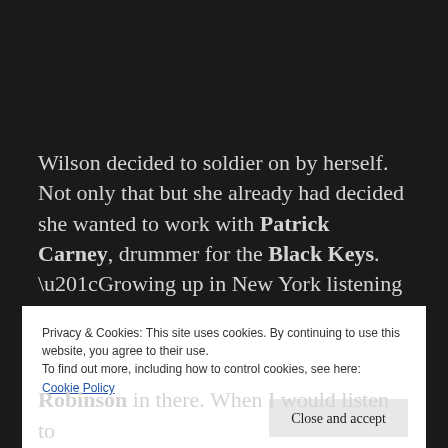Wilson decided to soldier on by herself. Not only that but she already had decided she wanted to work with Patrick Carney, drummer for the Black Keys. “Growing up in New York listening to hip hop…but still loving rock & roll music, I really became infatuated with the
Privacy & Cookies: This site uses cookies. By continuing to use this website, you agree to their use.
To find out more, including how to control cookies, see here:
Cookie Policy
[Close and accept]
Robinson in there. When I would listen to